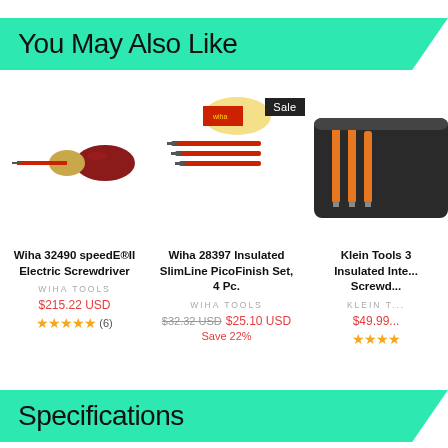You May Also Like
[Figure (photo): Wiha 32490 speedE®II Electric Screwdriver - red and gold insulated screwdriver]
Wiha 32490 speedE®II Electric Screwdriver
WIHA TOOLS
$215.22 USD
★★★★★ (6)
[Figure (photo): Wiha 28397 Insulated SlimLine PicoFinish Set, 4 Pc. - red and yellow insulated screwdriver set with Sale badge]
Wiha 28397 Insulated SlimLine PicoFinish Set, 4 Pc.
WIHA TOOLS
$32.32 USD  $25.10 USD
Save 22%
[Figure (photo): Klein Tools 3 piece Insulated Interchangeable Screwdriver set in black case - partially visible]
Klein Tools 3 Insulated Inter... Screwd...
KLEIN T...
$49.99...
★★★★...
Specifications